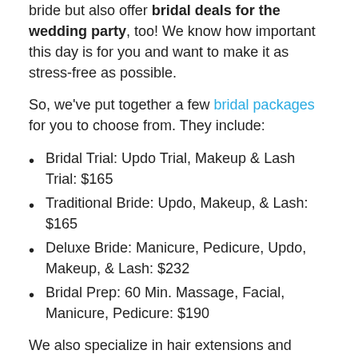bride but also offer bridal deals for the wedding party, too! We know how important this day is for you and want to make it as stress-free as possible.
So, we've put together a few bridal packages for you to choose from. They include:
Bridal Trial: Updo Trial, Makeup & Lash Trial: $165
Traditional Bride: Updo, Makeup, & Lash: $165
Deluxe Bride: Manicure, Pedicure, Updo, Makeup, & Lash: $232
Bridal Prep: 60 Min. Massage, Facial, Manicure, Pedicure: $190
We also specialize in hair extensions and waxing services!
Choose Charisma Salon in Livonia
Deciding on a bridal look? Let Charisma Salon be your